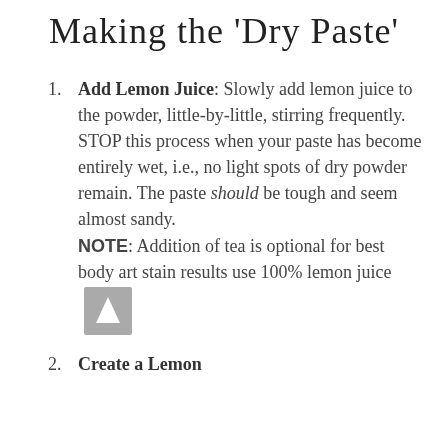Making the 'Dry Paste'
Add Lemon Juice: Slowly add lemon juice to the powder, little-by-little, stirring frequently. STOP this process when your paste has become entirely wet, i.e., no light spots of dry powder remain. The paste should be tough and seem almost sandy. NOTE: Addition of tea is optional for best body art stain results use 100% lemon juice
Create a Lemon